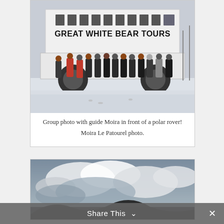[Figure (photo): Group of people standing in front of a large white polar rover vehicle with 'GREAT WHITE BEAR TOURS' written on it. Snowy ground. People dressed in winter clothing.]
Group photo with guide Moira in front of a polar rover! Moira Le Patourel photo.
[Figure (photo): Cloudy sky scene, partially visible, appears to show clouds and possibly a dark landscape silhouette at bottom.]
Share This ∨